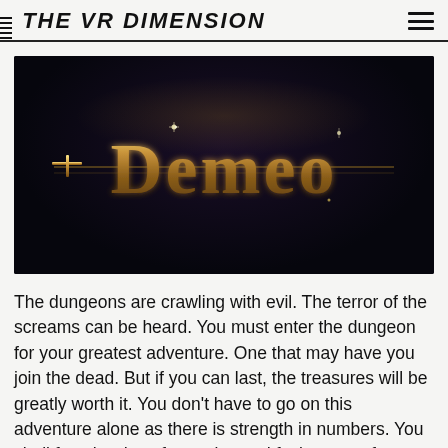THE VR DIMENSION
[Figure (logo): Demeo game logo — gold fantasy lettering on a dark dungeon background with atmospheric lighting]
The dungeons are crawling with evil. The terror of the screams can be heard. You must enter the dungeon for your greatest adventure. One that may have you join the dead. But if you can last, the treasures will be greatly worth it. You don't have to go on this adventure alone as there is strength in numbers. You shall face hordes of enemies and facing traps for each step that you take.